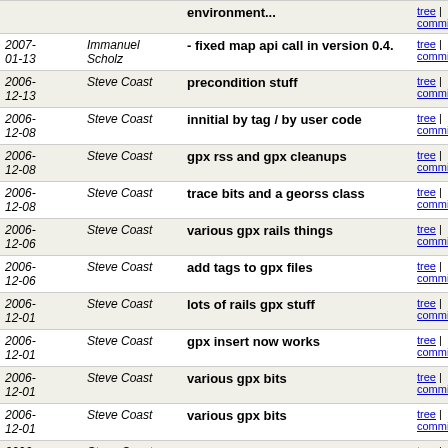| Date | Author | Message | Links |
| --- | --- | --- | --- |
|  |  | environment... | tree | commitdiff |
| 2007-01-13 | Immanuel Scholz | - fixed map api call in version 0.4. | tree | commitdiff |
| 2006-12-13 | Steve Coast | precondition stuff | tree | commitdiff |
| 2006-12-08 | Steve Coast | innitial by tag / by user code | tree | commitdiff |
| 2006-12-08 | Steve Coast | gpx rss and gpx cleanups | tree | commitdiff |
| 2006-12-08 | Steve Coast | trace bits and a georss class | tree | commitdiff |
| 2006-12-06 | Steve Coast | various gpx rails things | tree | commitdiff |
| 2006-12-06 | Steve Coast | add tags to gpx files | tree | commitdiff |
| 2006-12-01 | Steve Coast | lots of rails gpx stuff | tree | commitdiff |
| 2006-12-01 | Steve Coast | gpx insert now works | tree | commitdiff |
| 2006-12-01 | Steve Coast | various gpx bits | tree | commitdiff |
| 2006-12-01 | Steve Coast | various gpx bits | tree | commitdiff |
| 2006-12-01 | Steve Coast | compression! | tree | commitdiff |
| 2006-12-01 | Steve Coast | ways plural api | tree | commitdiff |